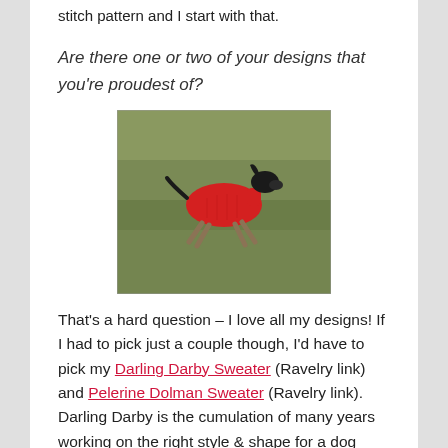stitch pattern and I start with that.
Are there one or two of your designs that you're proudest of?
[Figure (photo): A dog wearing a red knitted sweater running across a grassy field.]
That's a hard question – I love all my designs! If I had to pick just a couple though, I'd have to pick my Darling Darby Sweater (Ravelry link) and Pelerine Dolman Sweater (Ravelry link). Darling Darby is the cumulation of many years working on the right style & shape for a dog sweater that really fits the dog. And I love how Pelerine